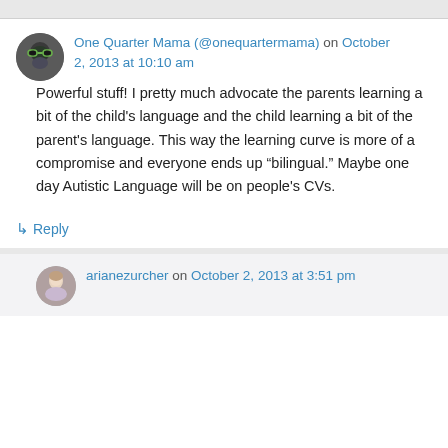One Quarter Mama (@onequartermama) on October 2, 2013 at 10:10 am
Powerful stuff! I pretty much advocate the parents learning a bit of the child's language and the child learning a bit of the parent's language. This way the learning curve is more of a compromise and everyone ends up “bilingual.” Maybe one day Autistic Language will be on people's CVs.
↳ Reply
arianezurcher on October 2, 2013 at 3:51 pm